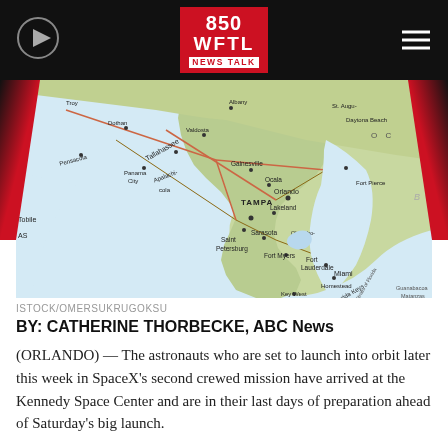850 WFTL NEWS TALK
[Figure (map): Map of Florida showing cities including Tampa, Saint Petersburg, Orlando, Fort Lauderdale, Miami, Tallahassee, Gainesville, and surrounding southeastern US states]
ISTOCK/OMERSUKRUGOKSU
BY: CATHERINE THORBECKE, ABC News
(ORLANDO) — The astronauts who are set to launch into orbit later this week in SpaceX's second crewed mission have arrived at the Kennedy Space Center and are in their last days of preparation ahead of Saturday's big launch.